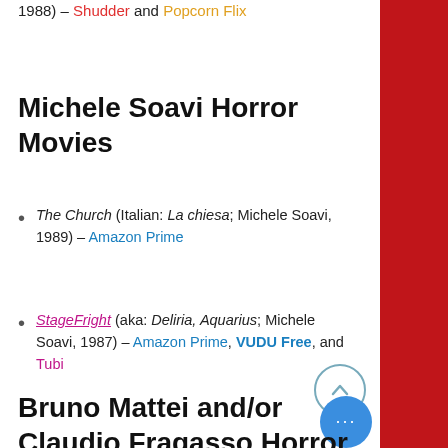1988) – Shudder and Popcorn Flix
Michele Soavi Horror Movies
The Church (Italian: La chiesa; Michele Soavi, 1989) – Amazon Prime
StageFright (aka: Deliria, Aquarius; Michele Soavi, 1987) – Amazon Prime, VUDU Free, and Tubi
Bruno Mattei and/or Claudio Fragasso Horror